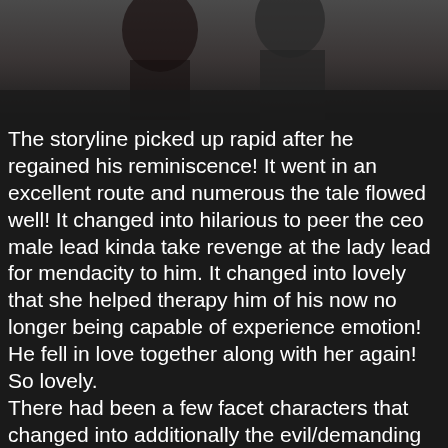[Figure (photo): Dark photo showing two people, partially visible at top of page]
The storyline picked up rapid after he regained his reminiscence! It went in an excellent route and numerous the tale flowed well! It changed into hilarious to peer the ceo male lead kinda take revenge at the lady lead for mendacity to him. It changed into lovely that she helped therapy him of his now no longer being capable of experience emotion! He fell in love together along with her again! So lovely.
There had been a few facet characters that changed into additionally the evil/demanding characters, however they didnt have an excessive amount of display screen time!Which is properly, an excessive amount of and this drama might of been complicated. However I felt a few characters had been kinda unnecessary, like her dad and older